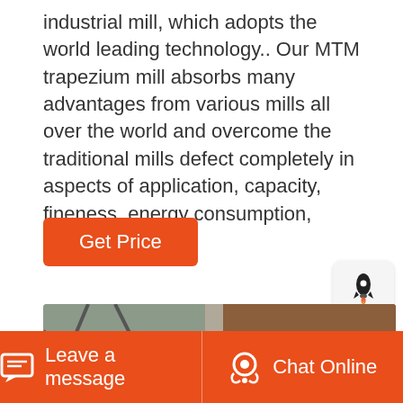industrial mill, which adopts the world leading technology.. Our MTM trapezium mill absorbs many advantages from various mills all over the world and overcome the traditional mills defect completely in aspects of application, capacity, fineness, energy consumption, service life, etc.
[Figure (other): Orange rounded rectangle button labeled 'Get Price']
[Figure (other): Small rounded square button with white rocket/launch icon on light gray background]
[Figure (photo): Industrial machinery photo showing a large pale yellow wheel/mill equipment in an industrial setting with metal structures and brick walls]
Leave a message   Chat Online